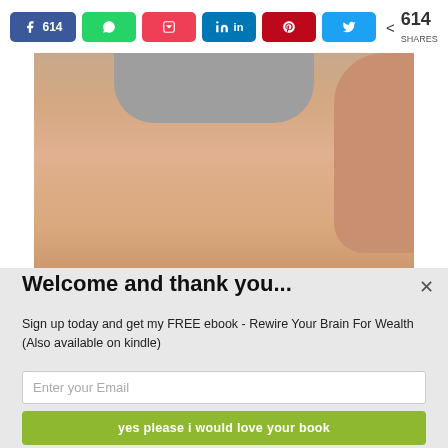[Figure (screenshot): Social media share buttons bar showing Facebook (614), WhatsApp, Pocket, LinkedIn, Pinterest, Twitter buttons and a share count of 614 SHARES]
[Figure (photo): Close-up photo of a person's midsection/belly area wearing a gray shirt, showing bare skin]
Welcome and thank you...
Sign up today and get my FREE ebook - Rewire Your Brain For Wealth (Also available on kindle)
Enter your Email
yes please i would love your book